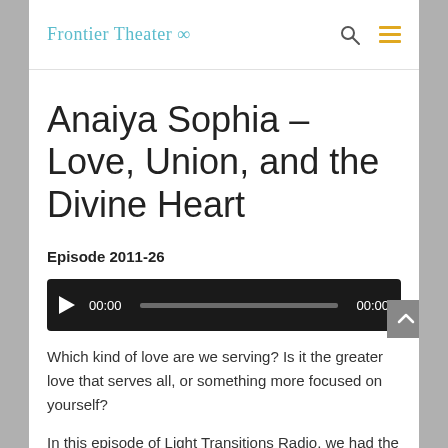Frontier Theater ∞
Anaiya Sophia – Love, Union, and the Divine Heart
Episode 2011-26
[Figure (other): Audio player with play button, time display 00:00, progress bar, and duration 00:00]
Which kind of love are we serving? Is it the greater love that serves all, or something more focused on yourself?
In this episode of Light Transitions Radio, we had the